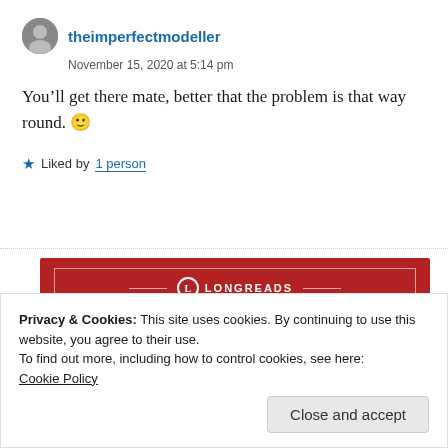theimperfectmodeller
November 15, 2020 at 5:14 pm
You’ll get there mate, better that the problem is that way round. 🙂
Liked by 1 person
[Figure (other): Longreads advertisement banner: red background with white border, logo circle with L, text reading The best stories on the web – ours, and everyone else’s.]
Privacy & Cookies: This site uses cookies. By continuing to use this website, you agree to their use.
To find out more, including how to control cookies, see here:
Cookie Policy
Close and accept